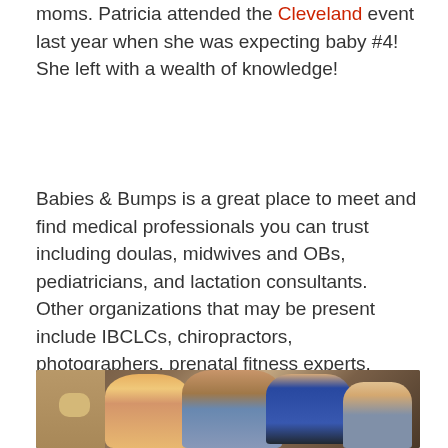moms. Patricia attended the Cleveland event last year when she was expecting baby #4! She left with a wealth of knowledge!
Babies & Bumps is a great place to meet and find medical professionals you can trust including doulas, midwives and OBs, pediatricians, and lactation consultants. Other organizations that may be present include IBCLCs, chiropractors, photographers, prenatal fitness experts, pediatric dental practices, child care facilities, book shops, baby boutiques, early childhood music programs, and more.
[Figure (photo): Photo of people at a Babies & Bumps event, showing three or four attendees talking and smiling in what appears to be a conference or event venue with warm lighting.]